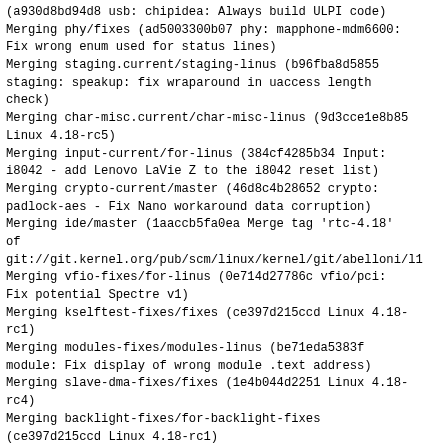(a930d8bd94d8 usb: chipidea: Always build ULPI code)
Merging phy/fixes (ad5003300b07 phy: mapphone-mdm6600: Fix wrong enum used for status lines)
Merging staging.current/staging-linus (b96fba8d5855 staging: speakup: fix wraparound in uaccess length check)
Merging char-misc.current/char-misc-linus (9d3cce1e8b85 Linux 4.18-rc5)
Merging input-current/for-linus (384cf4285b34 Input: i8042 - add Lenovo LaVie Z to the i8042 reset list)
Merging crypto-current/master (46d8c4b28652 crypto: padlock-aes - Fix Nano workaround data corruption)
Merging ide/master (1aaccb5fa0ea Merge tag 'rtc-4.18' of git://git.kernel.org/pub/scm/linux/kernel/git/abelloni/l1
Merging vfio-fixes/for-linus (0e714d27786c vfio/pci: Fix potential Spectre v1)
Merging kselftest-fixes/fixes (ce397d215ccd Linux 4.18-rc1)
Merging modules-fixes/modules-linus (be71eda5383f module: Fix display of wrong module .text address)
Merging slave-dma-fixes/fixes (1e4b044d2251 Linux 4.18-rc4)
Merging backlight-fixes/for-backlight-fixes (ce397d215ccd Linux 4.18-rc1)
Merging mtd-fixes/master (aa7eee8a143a mtd: spi-nor: cadence-quadspi: Fix direct mode write timeouts)
Merging nand-fixes/nand/fixes (ee02f73e04c0 mtd: nand: atmel: Fix EDO mode check)
Merging spi-nor-fixes/spi-nor/fixes (7928b2cbe55b linux